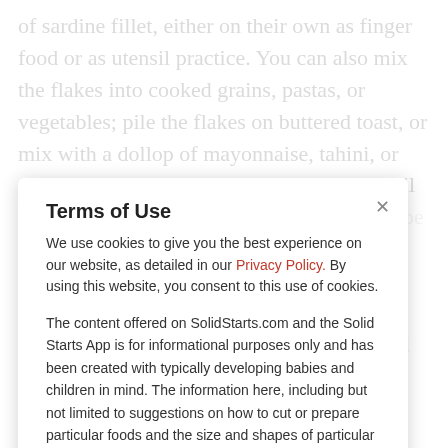of sardine fillet, either on their own as finger food or as utensil practice. You can also mix the flakes into cooked grains, pastas, or vegetables; pile the flakes on buttered toast, or mix with a dollop of mayonnaise, tahini, or yogurt to encourage hand scooping or utensil practice. If your baby or toddler is going to be a fan of savory flavors when you cook up small oily fish like sardines and halibut, you can grow accustomed to this. You can also blend canned sardine into egg dishes, porridge, rice, or mashed avocado or toast.
Terms of Use
We use cookies to give you the best experience on our website, as detailed in our Privacy Policy. By using this website, you consent to this use of cookies.
The content offered on SolidStarts.com and the Solid Starts App is for informational purposes only and has been created with typically developing babies and children in mind. The information here, including but not limited to suggestions on how to cut or prepare particular foods and the size and shapes of particular foods, is generalized for a broad audience. Your child is an individual and may have needs or considerations beyond generally accepted practices. If your child has underlying medical or developmental differences, we strongly recommend and encourage you to discuss